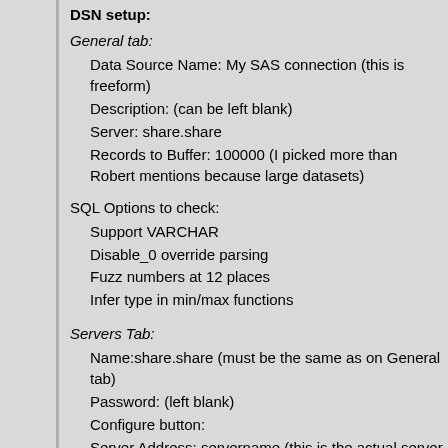DSN setup:
General tab:
Data Source Name: My SAS connection (this is freeform)
Description: (can be left blank)
Server: share.share
Records to Buffer: 100000 (I picked more than Robert mentions because large datasets)
SQL Options to check:
Support VARCHAR
Disable_0 override parsing
Fuzz numbers at 12 places
Infer type in min/max functions
Servers Tab:
Name:share.share (must be the same as on General tab)
Password: (left blank)
Configure button:
Server Address: servername (this is the actual server name that is used w connect -- no // or other UNC conventions, just the name)
UserName: myproduser (we use a Unix user name that is for production access, but whatever user you use, it must have access to the server name
UserPassword: xxxxxxx (we enter the myproduser password so that it doe